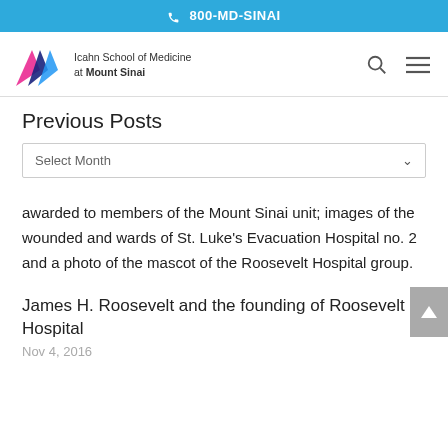800-MD-SINAI
[Figure (logo): Icahn School of Medicine at Mount Sinai logo with triangular mountain graphic]
Previous Posts
Select Month
awarded to members of the Mount Sinai unit; images of the wounded and wards of St. Luke's Evacuation Hospital no. 2 and a photo of the mascot of the Roosevelt Hospital group.
James H. Roosevelt and the founding of Roosevelt Hospital
Nov 4, 2016